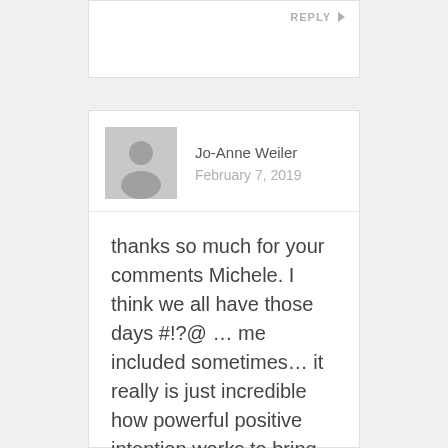REPLY ▶
Jo-Anne Weiler  February 7, 2019
thanks so much for your comments Michele. I think we all have those days #!?@ … me included sometimes… it really is just incredible how powerful positive intention works to bring us all back love again and again. Have a wonderful Valentine's month and year with your special someone.